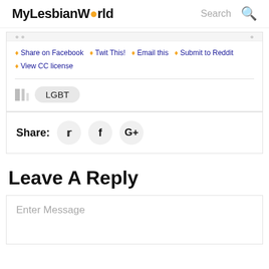MyLesbianWorld  Search
Share on Facebook
Twit This!
Email this
Submit to Reddit
View CC license
LGBT
Share:
Leave A Reply
Enter Message